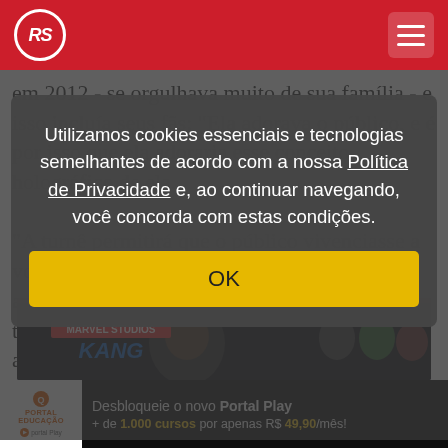RS (logo) | Navigation menu
em 2012 - se orgulhava muito de sua família - e isso incluía seus fãs: "Ela adorava o público, e é por isso que ela adoraria esse conceito holográfico de ela..." "A turnê permitirá que o público vivenciasse a voz e a paixão de Whitney pela música por um bom tem... as gerações futuras', concluiu.
Utilizamos cookies essenciais e tecnologias semelhantes de acordo com a nossa Política de Privacidade e, ao continuar navegando, você concorda com estas condições.
OK
[Figure (screenshot): Marvel Studios advertisement banner with character faces]
[Figure (screenshot): Portal Educação - Desbloqueie o novo Portal Play advertisement. + de 1.000 cursos por apenas R$ 49,90/mês!]